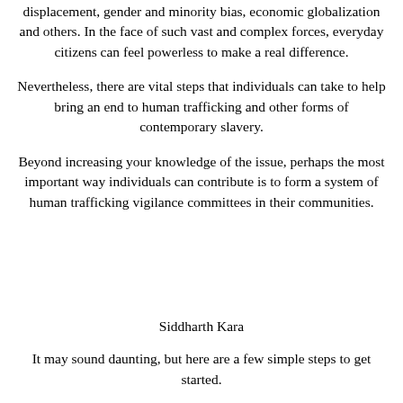displacement, gender and minority bias, economic globalization and others. In the face of such vast and complex forces, everyday citizens can feel powerless to make a real difference.
Nevertheless, there are vital steps that individuals can take to help bring an end to human trafficking and other forms of contemporary slavery.
Beyond increasing your knowledge of the issue, perhaps the most important way individuals can contribute is to form a system of human trafficking vigilance committees in their communities.
Siddharth Kara
It may sound daunting, but here are a few simple steps to get started.